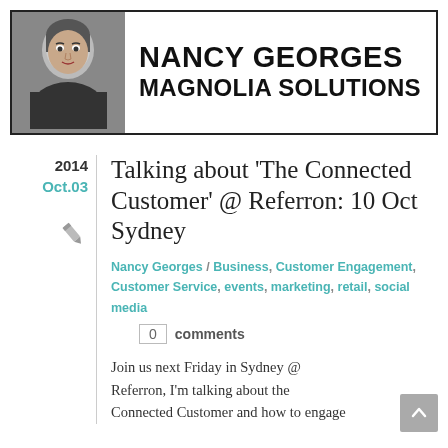[Figure (photo): Black and white headshot photo of Nancy Georges, a woman with dark hair]
NANCY GEORGES
MAGNOLIA SOLUTIONS
2014
Oct.03
Talking about ‘The Connected Customer’ @ Referron: 10 Oct Sydney
Nancy Georges / Business, Customer Engagement, Customer Service, events, marketing, retail, social media
0 comments
Join us next Friday in Sydney @ Referron, I’m talking about the Connected Customer and how to engage